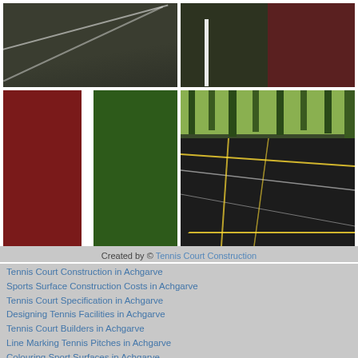[Figure (photo): Grid of four sports court surface photos: top-left dark green court with white lines, top-right red/dark textured court corner with white line, bottom-left red and green textured court surface with white stripe, bottom-right dark asphalt multi-sport court with yellow and white markings surrounded by green trees]
Created by © Tennis Court Construction
Tennis Court Construction in Achgarve
Sports Surface Construction Costs in Achgarve
Tennis Court Specification in Achgarve
Designing Tennis Facilities in Achgarve
Tennis Court Builders in Achgarve
Line Marking Tennis Pitches in Achgarve
Colouring Sport Surfaces in Achgarve
Tennis Court Construction Companies in Achgarve